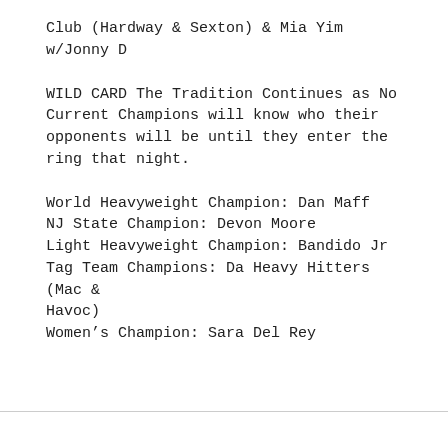Club (Hardway & Sexton) & Mia Yim w/Jonny D
WILD CARD The Tradition Continues as No Current Champions will know who their opponents will be until they enter the ring that night.
World Heavyweight Champion: Dan Maff
NJ State Champion: Devon Moore
Light Heavyweight Champion: Bandido Jr
Tag Team Champions: Da Heavy Hitters (Mac & Havoc)
Women’s Champion: Sara Del Rey